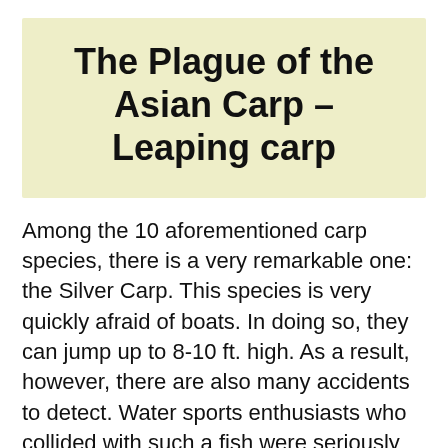The Plague of the Asian Carp – Leaping carp
Among the 10 aforementioned carp species, there is a very remarkable one: the Silver Carp. This species is very quickly afraid of boats. In doing so, they can jump up to 8-10 ft. high. As a result, however, there are also many accidents to detect. Water sports enthusiasts who collided with such a fish were seriously injured.
Imagine that you are water skiing and